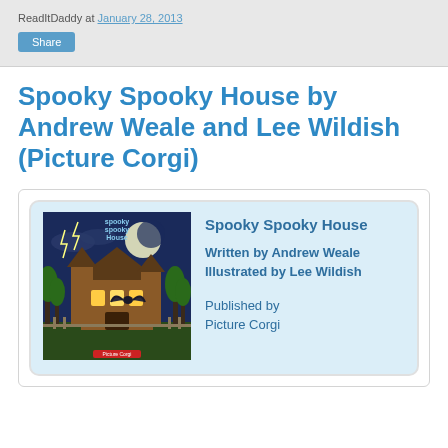ReadItDaddy at January 28, 2013
Spooky Spooky House by Andrew Weale and Lee Wildish (Picture Corgi)
[Figure (illustration): Book card with cover image of 'Spooky Spooky House' showing a haunted house at night with lightning, bats, and a moon. Card shows: Spooky Spooky House / Written by Andrew Weale / Illustrated by Lee Wildish / Published by Picture Corgi]